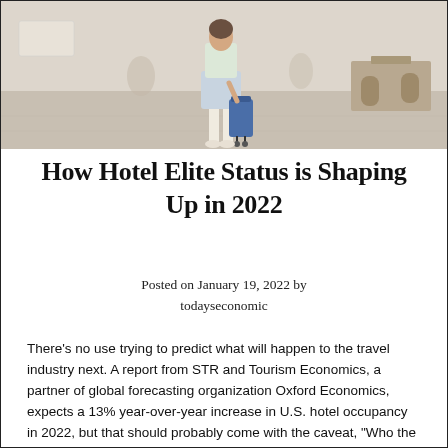[Figure (photo): A person walking with a blue suitcase in a hotel lobby, viewed from behind, wearing a floral outfit.]
How Hotel Elite Status is Shaping Up in 2022
Posted on January 19, 2022 by todayseconomic
There’s no use trying to predict what will happen to the travel industry next. A report from STR and Tourism Economics, a partner of global forecasting organization Oxford Economics, expects a 13% year-over-year increase in U.S. hotel occupancy in 2022, but that should probably come with the caveat, “Who the heck knows?”
We focused on those aspects of elite status that offer the